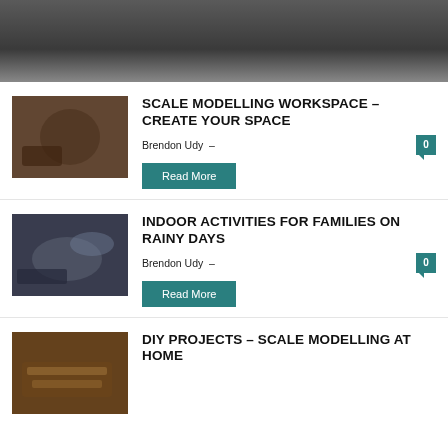[Figure (photo): Dark gradient banner header image]
[Figure (photo): Father and child working on scale model car in workshop]
SCALE MODELLING WORKSPACE – CREATE YOUR SPACE
Brendon Udy –
Read More
[Figure (photo): Man and child looking at model airplane indoors]
INDOOR ACTIVITIES FOR FAMILIES ON RAINY DAYS
Brendon Udy –
Read More
[Figure (photo): Detailed wooden ship scale model on workbench]
DIY PROJECTS – SCALE MODELLING AT HOME